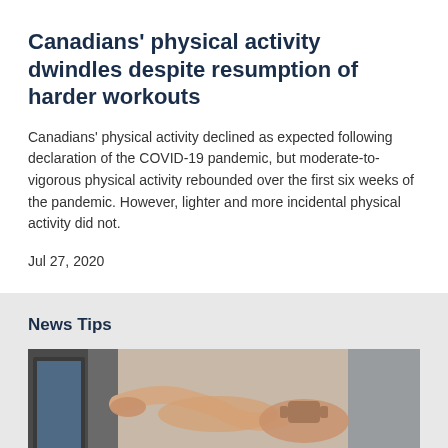Canadians' physical activity dwindles despite resumption of harder workouts
Canadians' physical activity declined as expected following declaration of the COVID-19 pandemic, but moderate-to-vigorous physical activity rebounded over the first six weeks of the pandemic. However, lighter and more incidental physical activity did not.
Jul 27, 2020
News Tips
[Figure (photo): A person pointing at a laptop screen, wearing a fitness tracker wristband on their wrist.]